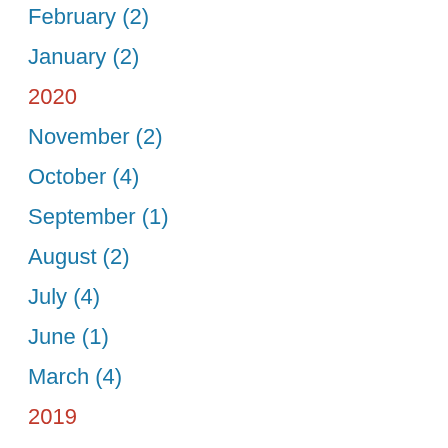February (2)
January (2)
2020
November (2)
October (4)
September (1)
August (2)
July (4)
June (1)
March (4)
2019
September (1)
August (1)